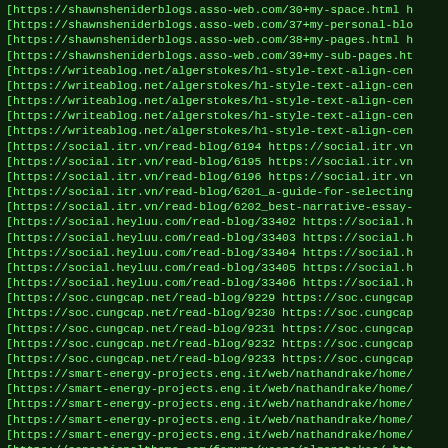A list of URLs from various blog and social platforms including shawnsheniderblogs.asso-web.com, writeablog.net, social.itr.vn, social.heyluu.com, soc.cungcap.net, smart-energy-projects.eng.it, and sensationaltheme.com